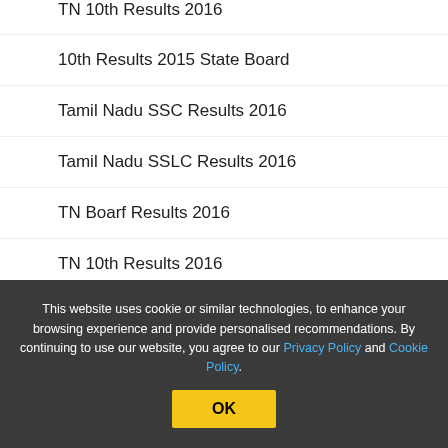TN 10th Results 2016
10th Results 2015 State Board
Tamil Nadu SSC Results 2016
Tamil Nadu SSLC Results 2016
TN Boarf Results 2016
TN 10th Results 2016
This website uses cookie or similar technologies, to enhance your browsing experience and provide personalised recommendations. By continuing to use our website, you agree to our Privacy Policy and Cookie Policy.